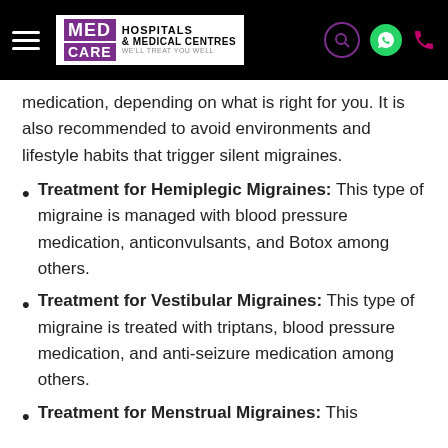MED CARE HOSPITALS & MEDICAL CENTRES — WE'LL TREAT YOU WELL
medication, depending on what is right for you. It is also recommended to avoid environments and lifestyle habits that trigger silent migraines.
Treatment for Hemiplegic Migraines: This type of migraine is managed with blood pressure medication, anticonvulsants, and Botox among others.
Treatment for Vestibular Migraines: This type of migraine is treated with triptans, blood pressure medication, and anti-seizure medication among others.
Treatment for Menstrual Migraines: This